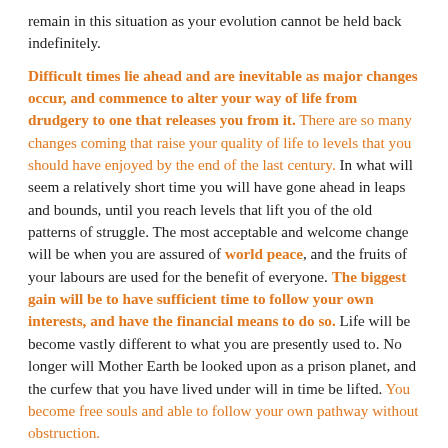remain in this situation as your evolution cannot be held back indefinitely.
Difficult times lie ahead and are inevitable as major changes occur, and commence to alter your way of life from drudgery to one that releases you from it. There are so many changes coming that raise your quality of life to levels that you should have enjoyed by the end of the last century. In what will seem a relatively short time you will have gone ahead in leaps and bounds, until you reach levels that lift you of the old patterns of struggle. The most acceptable and welcome change will be when you are assured of world peace, and the fruits of your labours are used for the benefit of everyone. The biggest gain will be to have sufficient time to follow your own interests, and have the financial means to do so. Life will be become vastly different to what you are presently used to. No longer will Mother Earth be looked upon as a prison planet, and the curfew that you have lived under will in time be lifted. You become free souls and able to follow your own pathway without obstruction.
As those of you who are of the Light continue to lift